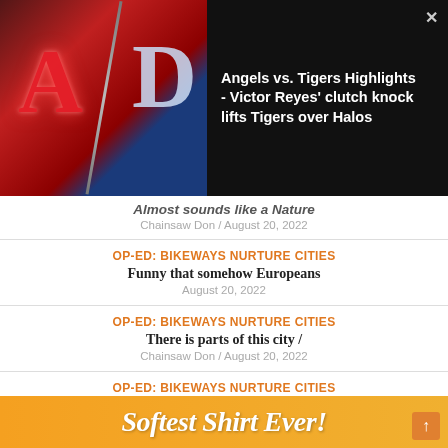[Figure (screenshot): Video overlay showing Angels vs Tigers baseball highlights with team logos thumbnail and video title text]
Almost sounds like a Nature
Chainsaw Don / August 20, 2022
OP-ED: BIKEWAYS NURTURE CITIES
Funny that somehow Europeans
August 20, 2022
OP-ED: BIKEWAYS NURTURE CITIES
There is parts of this city /
Chainsaw Don / August 20, 2022
OP-ED: BIKEWAYS NURTURE CITIES
Let me get this straight on
Chainsaw Don / August 20, 2022
[Figure (infographic): Orange advertisement banner with italic white text reading Softest Shirt Ever!]